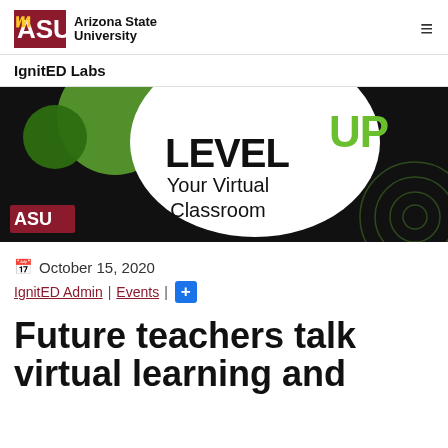ASU Arizona State University
IgnitED Labs
[Figure (illustration): Banner image for 'Level UP Your Virtual Classroom' event with ASU branding, black background, green circles, white oval, bold text LEVEL in black and UP in green, subtitle 'Your Virtual Classroom', ASU logo bottom left.]
October 15, 2020
IgnitED Admin | Events | +
Future teachers talk virtual learning and